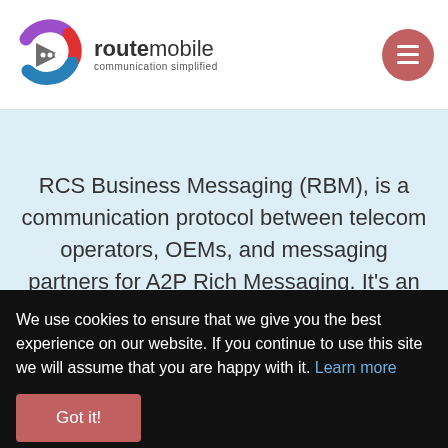[Figure (logo): Route Mobile logo with circular icon showing chat bubble and arrow, text reads 'routemobile communication simplified']
[Figure (other): Hamburger menu button - salmon/rose colored circle with three horizontal white lines]
RCS Business Messaging (RBM), is a communication protocol between telecom operators, OEMs, and messaging partners for A2P Rich Messaging. It's an
We use cookies to ensure that we give you the best experience on our website. If you continue to use this site we will assume that you are happy with it. Learn more
Got it!